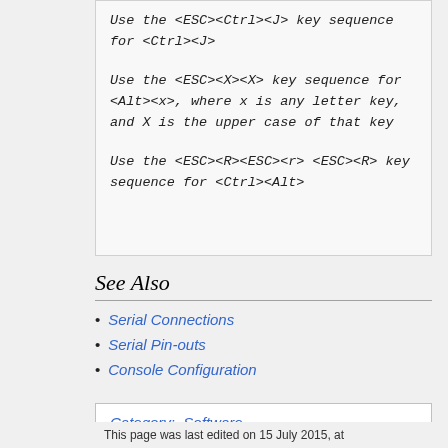Use the <ESC><Ctrl><J> key sequence for <Ctrl><J>
Use the <ESC><X><X> key sequence for <Alt><x>, where x is any letter key, and X is the upper case of that key
Use the <ESC><R><ESC><r><ESC><R> key sequence for <Ctrl><Alt>
See Also
Serial Connections
Serial Pin-outs
Console Configuration
Category:  Software
This page was last edited on 15 July 2015, at